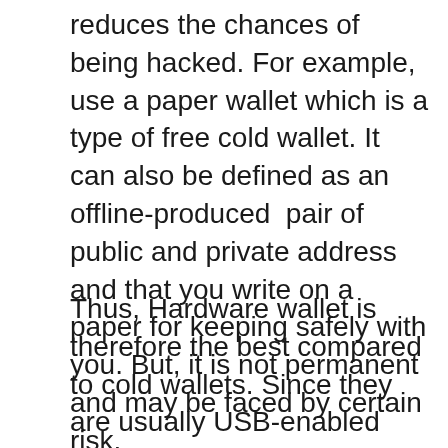reduces the chances of being hacked. For example, use a paper wallet which is a type of free cold wallet. It can also be defined as an offline-produced pair of public and private address and that you write on a paper for keeping safely with you. But, it is not permanent and may be faced by certain risk.
Thus, Hardware wallet is therefore the best compared to cold wallets. Since they are usually USB-enabled devices that can hold the key information of your wallet in the safest manner. Also they are designed using military-level security and their firmware's are continuously upgraded by their manufacturers and this makes them extra safe to use. For example, Ledger Nano S and